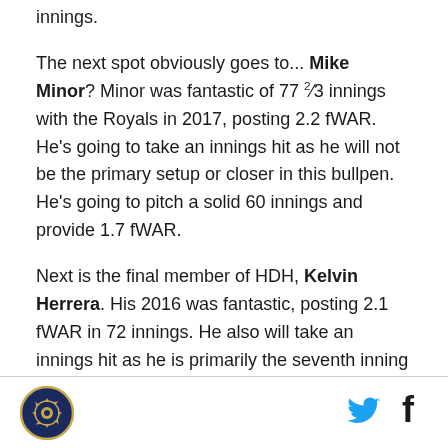innings.
The next spot obviously goes to... Mike Minor? Minor was fantastic of 77 2/3 innings with the Royals in 2017, posting 2.2 fWAR. He's going to take an innings hit as he will not be the primary setup or closer in this bullpen. He's going to pitch a solid 60 innings and provide 1.7 fWAR.
Next is the final member of HDH, Kelvin Herrera. His 2016 was fantastic, posting 2.1 fWAR in 72 innings. He also will take an innings hit as he is primarily the seventh inning guy, but with this rotation he will be needed less. He will also pitch 60 innings and provide 1.7 fWAR.
[Figure (logo): Circular team logo with navy and gold colors]
[Figure (other): Twitter bird icon in cyan]
[Figure (other): Facebook f icon in dark blue/black]